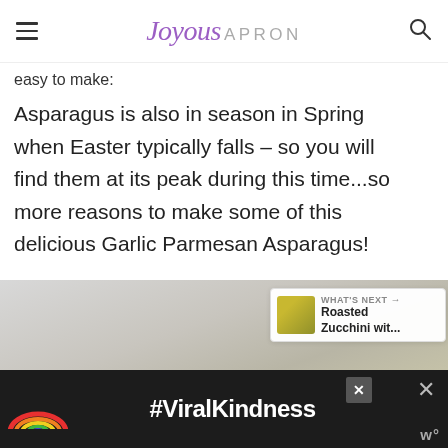Joyous APRON
easy to make:
Asparagus is also in season in Spring when Easter typically falls – so you will find them at its peak during this time...so more reasons to make some of this delicious Garlic Parmesan Asparagus!
[Figure (photo): Blurred background food photo, partially visible, appears to show a light-colored dish or ingredients]
[Figure (screenshot): What's Next widget showing Roasted Zucchini wit... with a thumbnail image of yellow-green zucchini]
[Figure (infographic): Dark advertisement banner showing a rainbow graphic and #ViralKindness text in white]